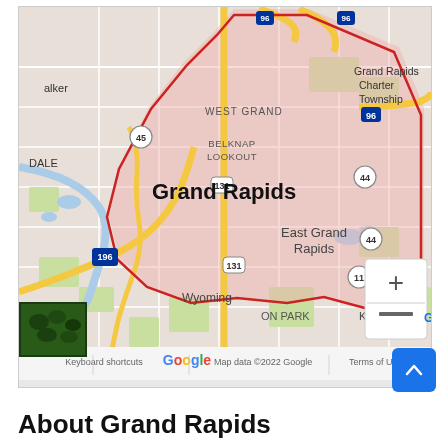[Figure (map): Google Map showing Grand Rapids, Michigan with a red polygon boundary outline. The map shows surrounding areas including Walker, Wyoming, East Grand Rapids, Kentwood, and Grand Rapids Charter Township. Interstate highways 96, 196, 131, and routes 44, 45, 11 are visible. The map includes zoom controls (+/-), a satellite thumbnail inset, Google logo, and footer text 'Keyboard shortcuts · Map data ©2022 Google · Terms of Use'.]
About Grand Rapids